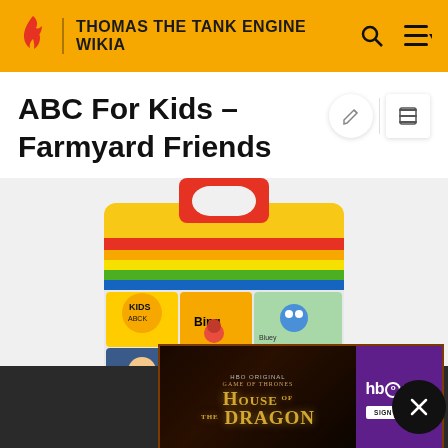THOMAS THE TANK ENGINE WIKIA
ABC For Kids - Farmyard Friends
[Figure (photo): ABC For Kids Farmyard Friends book/tablet case with children's show characters including Bing, Thomas & Friends, Daniel Tiger, and others]
[Figure (screenshot): House of the Dragon HBO Max advertisement overlay]
ABC Fo... n 3
June 2... s. It
fo...
ABC For Kids - Farmyard Friends was released on 3 June 2... It features...